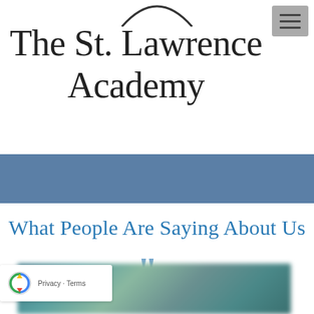[Figure (logo): Partial arc/semicircle logo at top center]
The St. Lawrence Academy
[Figure (other): Blue horizontal navigation bar]
What People Are Saying About Us
[Figure (other): Large blue quotation mark icon]
[Figure (photo): Blurred teal/blue-green photo at bottom]
[Figure (other): reCAPTCHA badge with logo, Privacy and Terms links]